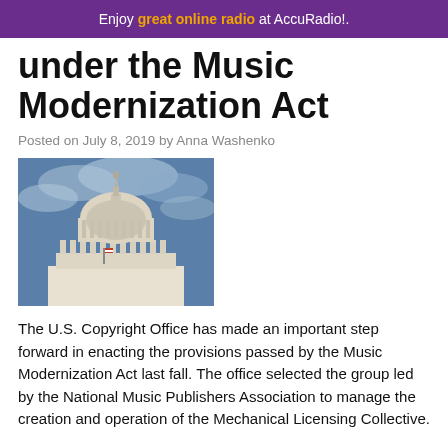Enjoy great online radio at AccuRadio!.
under the Music Modernization Act
Posted on July 8, 2019 by Anna Washenko
[Figure (photo): Photo of the U.S. Capitol dome against a cloudy blue sky]
The U.S. Copyright Office has made an important step forward in enacting the provisions passed by the Music Modernization Act last fall. The office selected the group led by the National Music Publishers Association to manage the creation and operation of the Mechanical Licensing Collective.